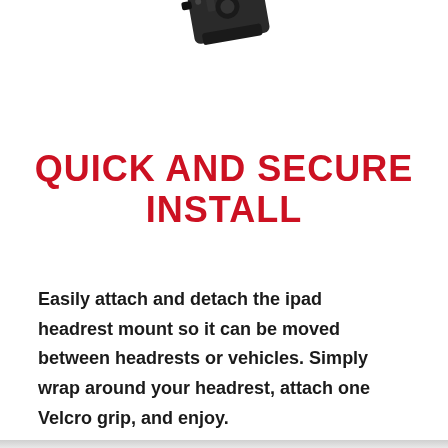[Figure (photo): Partial view of a black iPad headrest mount product, shown from above at an angle, partially cropped at the top of the page.]
QUICK AND SECURE INSTALL
Easily attach and detach the ipad headrest mount so it can be moved between headrests or vehicles. Simply wrap around your headrest, attach one Velcro grip, and enjoy.